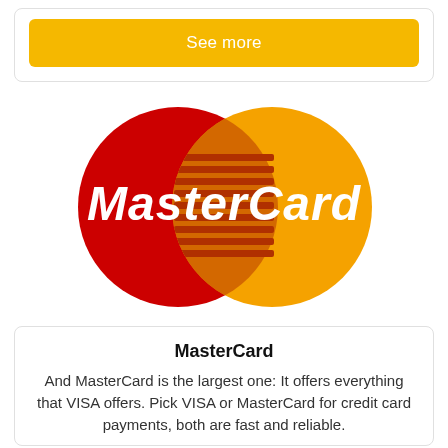See more
[Figure (logo): MasterCard logo: two overlapping circles (red on left, orange on right) with 'MasterCard' text in white across the center, and horizontal stripe lines in the overlap zone.]
MasterCard
And MasterCard is the largest one: It offers everything that VISA offers. Pick VISA or MasterCard for credit card payments, both are fast and reliable.